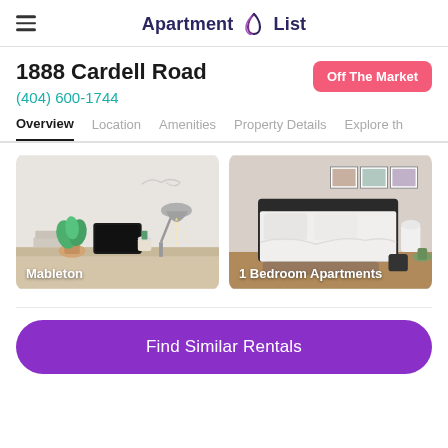Apartment List
1888 Cardell Road
(404) 600-1744
Off The Market
Overview  Location  Amenities  Property Details  Explore th
[Figure (photo): Photo of a home office desk with laptop, plant, and lamp. Labeled 'Mableton']
[Figure (photo): Photo of a bedroom with a bed and white decor. Labeled '1 Bedroom Apartments']
Find Similar Rentals